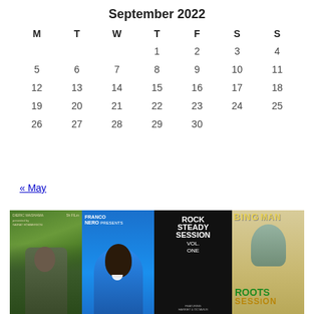September 2022
| M | T | W | T | F | S | S |
| --- | --- | --- | --- | --- | --- | --- |
|  |  |  | 1 | 2 | 3 | 4 |
| 5 | 6 | 7 | 8 | 9 | 10 | 11 |
| 12 | 13 | 14 | 15 | 16 | 17 | 18 |
| 19 | 20 | 21 | 22 | 23 | 24 | 25 |
| 26 | 27 | 28 | 29 | 30 |  |  |
« May
[Figure (photo): Strip of four album/movie covers: a green movie poster with a man holding a rifle, a blue album cover 'Franco Nero Presents' with a person, a black album cover 'Rock Steady Session Vol. One', and a beige album cover 'Bingman Roots Session']